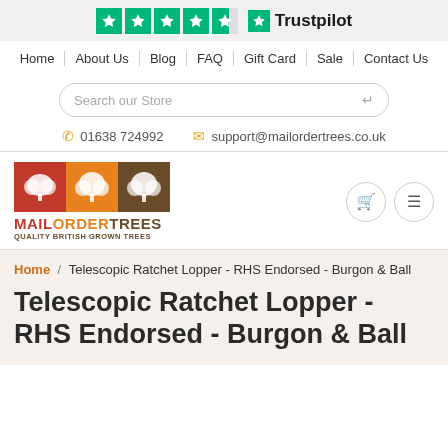[Figure (logo): Trustpilot rating bar with 4.5 green stars and Trustpilot logo]
Home | About Us | Blog | FAQ | Gift Card | Sale | Contact Us
Search our Store
📞 01638 724992   ✉ support@mailordertrees.co.uk
[Figure (logo): Mail Order Trees logo with three colored blocks (red, orange, brown) each showing a white tree, text MAILORDERTREES QUALITY BRITISH GROWN TREES]
Home / Telescopic Ratchet Lopper - RHS Endorsed - Burgon & Ball
Telescopic Ratchet Lopper - RHS Endorsed - Burgon & Ball